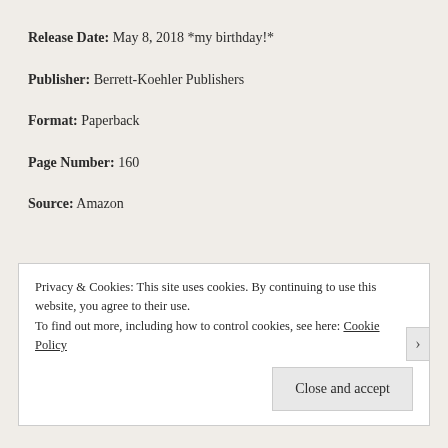Release Date: May 8, 2018 *my birthday!*
Publisher: Berrett-Koehler Publishers
Format: Paperback
Page Number: 160
Source: Amazon
Privacy & Cookies: This site uses cookies. By continuing to use this website, you agree to their use.
To find out more, including how to control cookies, see here: Cookie Policy
Close and accept